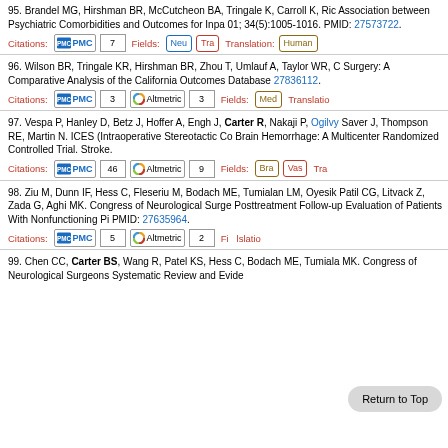95. Brandel MG, Hirshman BR, McCutcheon BA, Tringale K, Carroll K, Ric... Association between Psychiatric Comorbidities and Outcomes for Inpa... 01; 34(5):1005-1016. PMID: 27573722.
Citations: PMC 7 Fields: Neu Tra Translation: Human
96. Wilson BR, Tringale KR, Hirshman BR, Zhou T, Umlauf A, Taylor WR, C... Surgery: A Comparative Analysis of the California Outcomes Database... 27836112.
Citations: PMC 3 Altmetric 3 Fields: Med Translation:
97. Vespa P, Hanley D, Betz J, Hoffer A, Engh J, Carter R, Nakaji P, Ogilvy... Saver J, Thompson RE, Martin N. ICES (Intraoperative Stereotactic Co... Brain Hemorrhage: A Multicenter Randomized Controlled Trial. Stroke.
Citations: PMC 46 Altmetric 9 Fields: Bra Vas Tra
98. Ziu M, Dunn IF, Hess C, Fleseriu M, Bodach ME, Tumialan LM, Oyesik... Patil CG, Litvack Z, Zada G, Aghi MK. Congress of Neurological Surge... Posttreatment Follow-up Evaluation of Patients With Nonfunctioning Pi... PMID: 27635964.
Citations: PMC 5 Altmetric 2 Fields: Translation:
99. Chen CC, Carter BS, Wang R, Patel KS, Hess C, Bodach ME, Tumiala... MK. Congress of Neurological Surgeons Systematic Review and Evide...